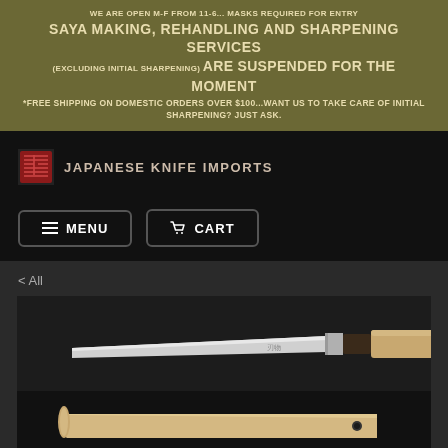WE ARE OPEN M-F FROM 11-6... MASKS REQUIRED FOR ENTRY SAYA MAKING, REHANDLING AND SHARPENING SERVICES (EXCLUDING INITIAL SHARPENING) ARE SUSPENDED FOR THE MOMENT *FREE SHIPPING ON DOMESTIC ORDERS OVER $100...WANT US TO TAKE CARE OF INITIAL SHARPENING? JUST ASK.
[Figure (logo): Japanese Knife Imports logo with red seal and text]
MENU
CART
< All
[Figure (photo): Japanese knife with light wood handle next to its wooden saya (sheath), displayed on dark background]